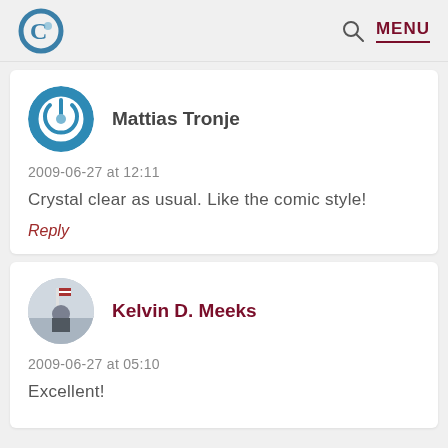C MENU
Mattias Tronje
2009-06-27 at 12:11
Crystal clear as usual. Like the comic style!
Reply
Kelvin D. Meeks
2009-06-27 at 05:10
Excellent!